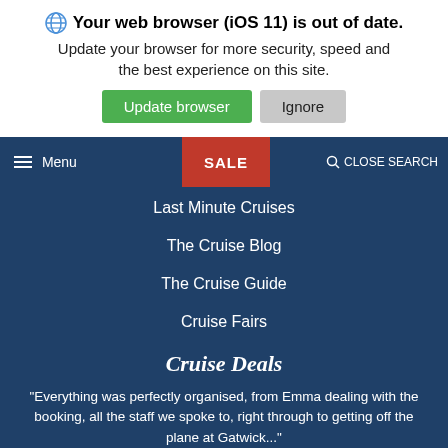Your web browser (iOS 11) is out of date. Update your browser for more security, speed and the best experience on this site.
Update browser  Ignore
[Figure (screenshot): Navigation bar with hamburger menu, SALE button (red), and CLOSE SEARCH]
Last Minute Cruises
The Cruise Blog
The Cruise Guide
Cruise Fairs
Cruise Deals
"Everything was perfectly organised, from Emma dealing with the booking, all the staff we spoke to, right through to getting off the plane at Gatwick..."
Read more